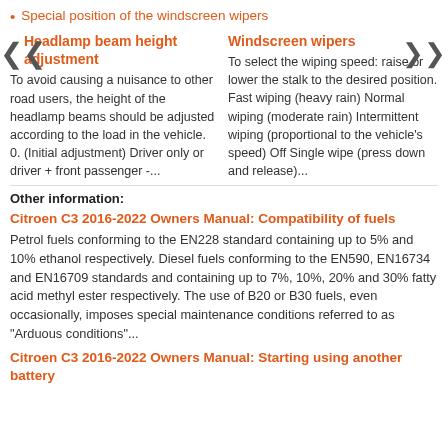Special position of the windscreen wipers
Headlamp beam height adjustment
Windscreen wipers
To avoid causing a nuisance to other road users, the height of the headlamp beams should be adjusted according to the load in the vehicle. 0. (Initial adjustment) Driver only or driver + front passenger -...
To select the wiping speed: raise or lower the stalk to the desired position. Fast wiping (heavy rain) Normal wiping (moderate rain) Intermittent wiping (proportional to the vehicle's speed) Off Single wipe (press down and release)...
Other information:
Citroen C3 2016-2022 Owners Manual: Compatibility of fuels
Petrol fuels conforming to the EN228 standard containing up to 5% and 10% ethanol respectively. Diesel fuels conforming to the EN590, EN16734 and EN16709 standards and containing up to 7%, 10%, 20% and 30% fatty acid methyl ester respectively. The use of B20 or B30 fuels, even occasionally, imposes special maintenance conditions referred to as "Arduous conditions"...
Citroen C3 2016-2022 Owners Manual: Starting using another battery